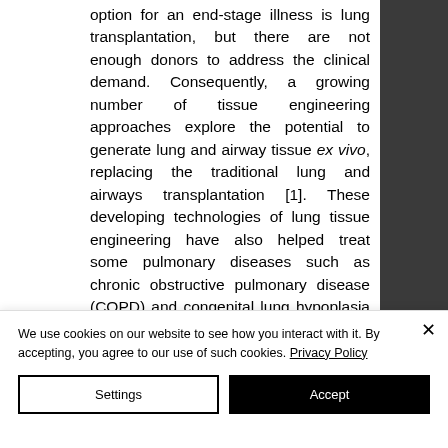option for an end-stage illness is lung transplantation, but there are not enough donors to address the clinical demand. Consequently, a growing number of tissue engineering approaches explore the potential to generate lung and airway tissue ex vivo, replacing the traditional lung and airways transplantation [1]. These developing technologies of lung tissue engineering have also helped treat some pulmonary diseases such as chronic obstructive pulmonary disease (COPD) and congenital lung hypoplasia [2].
We use cookies on our website to see how you interact with it. By accepting, you agree to our use of such cookies. Privacy Policy